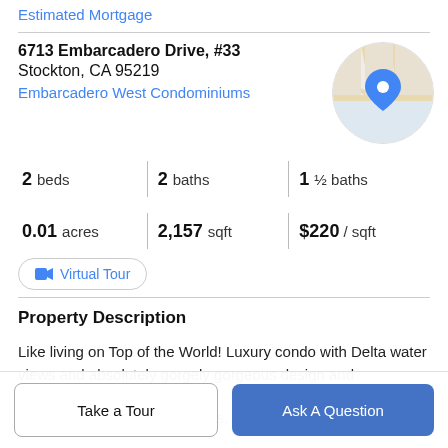Estimated Mortgage
6713 Embarcadero Drive, #33
Stockton, CA 95219
Embarcadero West Condominiums
[Figure (map): Circular map thumbnail showing a street map with a blue location pin marker]
| Stat | Value |
| --- | --- |
| beds | 2 |
| baths | 2 |
| ½ baths | 1 |
| acres | 0.01 |
| sqft | 2,157 |
| price/sqft | $220 |
Virtual Tour
Property Description
Like living on Top of the World! Luxury condo with Delta water views and absolutely gorgely gorgeous design and
& underground parking, 2 spaces, and entire dedicated
Take a Tour
Ask A Question